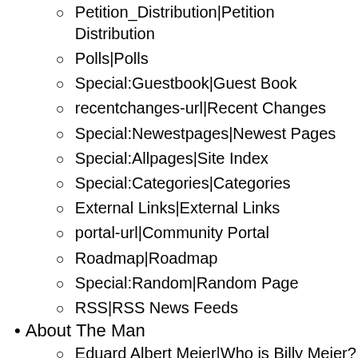Petition_Distribution|Petition Distribution
Polls|Polls
Special:Guestbook|Guest Book
recentchanges-url|Recent Changes
Special:Newestpages|Newest Pages
Special:Allpages|Site Index
Special:Categories|Categories
External Links|External Links
portal-url|Community Portal
Roadmap|Roadmap
Special:Random|Random Page
RSS|RSS News Feeds
About The Man
Eduard Albert Meier|Who is Billy Meier?
Biography|Biography
His Work|His Work
Clarification of a Defamatory Claim|Clarification of a Defamatory Claim
Asket and Nera Photos|Asket & Nera Photos